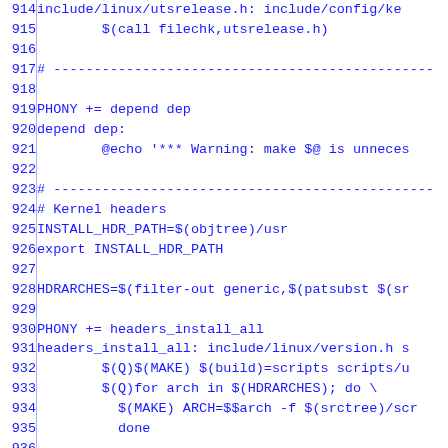Source code / Makefile snippet, lines 914–943
914  include/linux/utsrelease.h: include/config/ke
915          $(call filechk,utsrelease.h)
916
917  # ------------------------------------------
918
919  PHONY += depend dep
920  depend dep:
921          @echo '*** Warning: make $@ is unneces
922
923  # ------------------------------------------
924  # Kernel headers
925  INSTALL_HDR_PATH=$(objtree)/usr
926  export INSTALL_HDR_PATH
927
928  HDRARCHES=$(filter-out generic,$(patsubst $(sr
929
930  PHONY += headers_install_all
931  headers_install_all: include/linux/version.h s
932          $(Q)$(MAKE) $(build)=scripts scripts/u
933          $(Q)for arch in $(HDRARCHES); do \
934            $(MAKE) ARCH=$$arch -f $(srctree)/scr
935            done
936
937  PHONY += headers_install
938  headers_install: include/linux/version.h scrip
939          @if [ ! -r $(srctree)/include/asm-$(AR
940            echo '*** Error: Headers not exporta
941            exit 1 ; fi
942          $(Q)$(MAKE) $(build)=scripts scripts/u
943          $(Q)$(MAKE) -f $(srctree)/scripts/Make